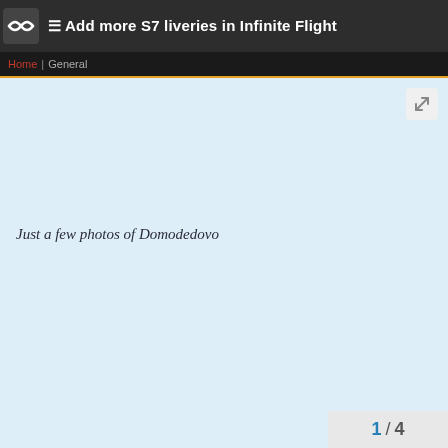Add more S7 liveries in Infinite Flight
Home | General
Just a few photos of Domodedovo
1 / 4